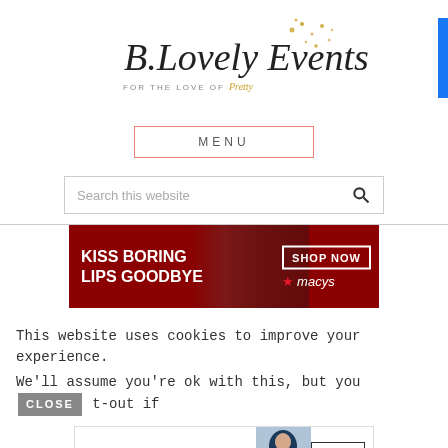[Figure (logo): B.Lovely Events logo - cursive script text with gold glitter accent. Subtitle: FOR THE LOVE OF Pretty]
[Figure (screenshot): MENU button with coral/pink border]
[Figure (screenshot): Search this website input box with magnifying glass icon]
[Figure (photo): Macy's advertisement: KISS BORING LIPS GOODBYE with woman wearing red lipstick, SHOP NOW button and Macy's star logo]
This website uses cookies to improve your experience.
We'll assume you're ok with this, but you [CLOSE] t-out if
[Figure (photo): Bloomingdales advertisement: View Today's Top Deals! SHOP NOW > with woman in hat]